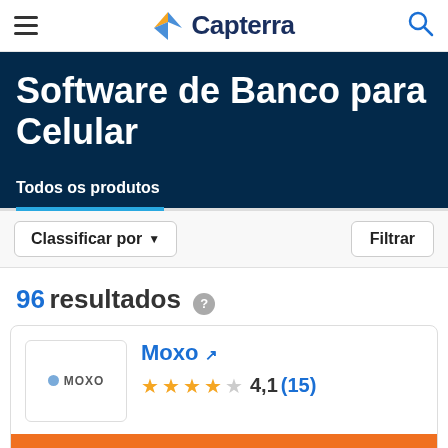[Figure (logo): Capterra logo with orange/blue arrow icon and dark blue text]
Software de Banco para Celular
Todos os produtos
Classificar por ▾   Filtrar
96 resultados ?
Moxo
4,1 (15)
ACESSE O SITE